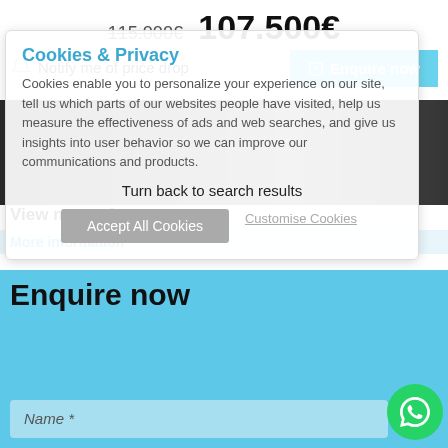115.000€  107.500€
Notify me of price drop
Enquire now
[Figure (photo): Property interior photo strip]
View more photos
More information
Cookies & Privacy
Cookies enable you to personalize your experience on our site, tell us which parts of our websites people have visited, help us measure the effectiveness of ads and web searches, and give us insights into user behavior so we can improve our communications and products.
Turn back to search results
Accept All Cookies
Customise Cookies
Enquire now
Name *